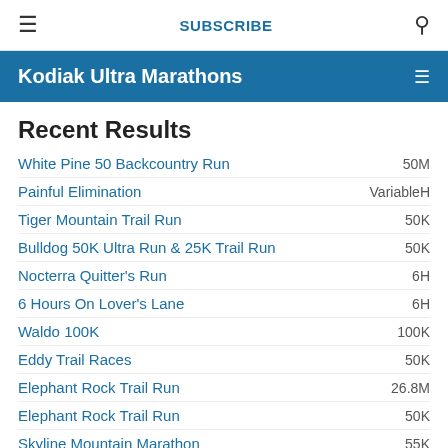≡  SUBSCRIBE  🔍
Kodiak Ultra Marathons
Recent Results
White Pine 50 Backcountry Run — 50M
Painful Elimination — VariableH
Tiger Mountain Trail Run — 50K
Bulldog 50K Ultra Run & 25K Trail Run — 50K
Nocterra Quitter's Run — 6H
6 Hours On Lover's Lane — 6H
Waldo 100K — 100K
Eddy Trail Races — 50K
Elephant Rock Trail Run — 26.8M
Elephant Rock Trail Run — 50K
Skyline Mountain Marathon — 55K
Iron Legs Mountain Races — 60K